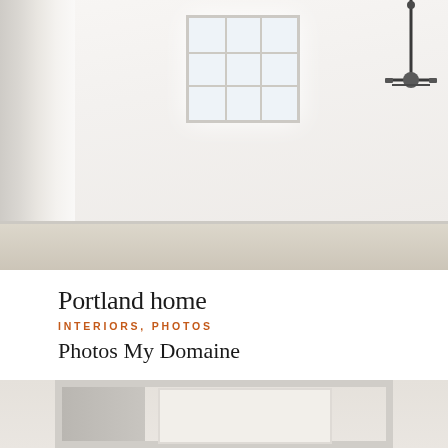[Figure (photo): Minimalist white bathroom interior with sheer white curtain on left side, a multi-pane window in center background letting in natural light, light stone or tile floor, and a vintage-style shower fixture/pipe in the upper right corner. Walls are bright white.]
Portland home
INTERIORS, PHOTOS
Photos My Domaine
[Figure (photo): Close-up interior photo showing a door frame or architectural framing element in neutral beige/cream tones, with a left panel and a lighter rectangular inset area visible.]